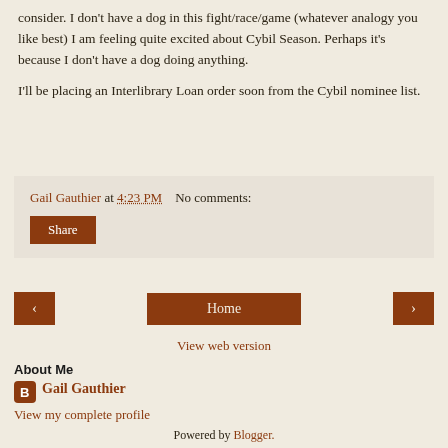consider. I don't have a dog in this fight/race/game (whatever analogy you like best) I am feeling quite excited about Cybil Season. Perhaps it's because I don't have a dog doing anything.
I'll be placing an Interlibrary Loan order soon from the Cybil nominee list.
Gail Gauthier at 4:23 PM   No comments:
Share
‹  Home  ›
View web version
About Me
Gail Gauthier
View my complete profile
Powered by Blogger.